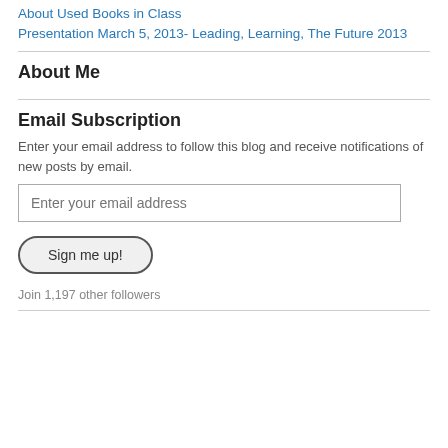About Used Books in Class
Presentation March 5, 2013- Leading, Learning, The Future 2013
About Me
Email Subscription
Enter your email address to follow this blog and receive notifications of new posts by email.
Enter your email address
Sign me up!
Join 1,197 other followers